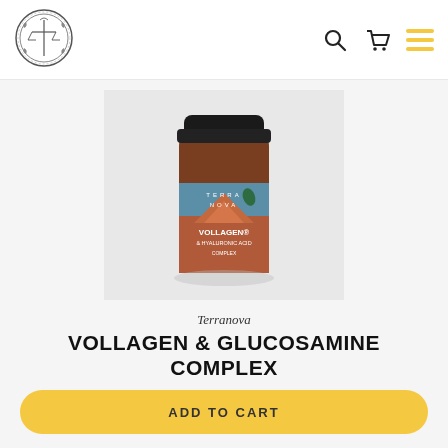[Figure (logo): Terranova circular ornate logo with scales figure in center]
[Figure (photo): Terranova Vollagen & Hyaluronic Acid Complex supplement bottle with dark amber glass, black lid, blue and terracotta label]
Terranova
VOLLAGEN & GLUCOSAMINE COMPLEX
£17.95
ADD TO CART